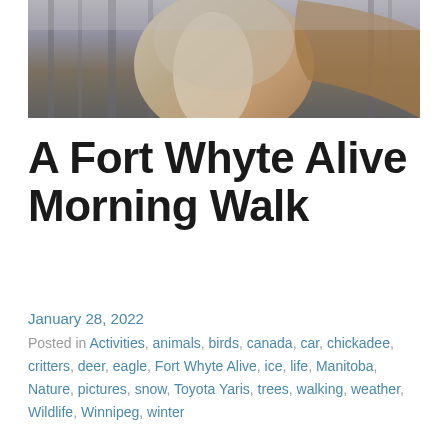[Figure (photo): Close-up photo of a deer, showing its neck and head area from below, with blurred winter trees in the background. The deer has brown/tan fur with a lighter patch visible.]
A Fort Whyte Alive Morning Walk
January 28, 2022
Posted in Activities, animals, birds, canada, car, chickadee, critters, deer, eagle, Fort Whyte Alive, ice, life, Manitoba, Nature, pictures, snow, Toyota Yaris, trees, walking, weather, Wildlife, Winnipeg, winter